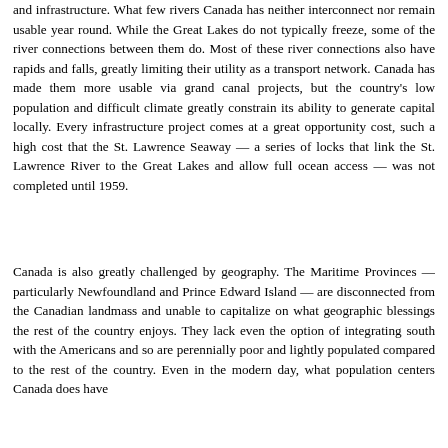and infrastructure. What few rivers Canada has neither interconnect nor remain usable year round. While the Great Lakes do not typically freeze, some of the river connections between them do. Most of these river connections also have rapids and falls, greatly limiting their utility as a transport network. Canada has made them more usable via grand canal projects, but the country's low population and difficult climate greatly constrain its ability to generate capital locally. Every infrastructure project comes at a great opportunity cost, such a high cost that the St. Lawrence Seaway — a series of locks that link the St. Lawrence River to the Great Lakes and allow full ocean access — was not completed until 1959.
Canada is also greatly challenged by geography. The Maritime Provinces — particularly Newfoundland and Prince Edward Island — are disconnected from the Canadian landmass and unable to capitalize on what geographic blessings the rest of the country enjoys. They lack even the option of integrating south with the Americans and so are perennially poor and lightly populated compared to the rest of the country. Even in the modern day, what population centers Canada does have